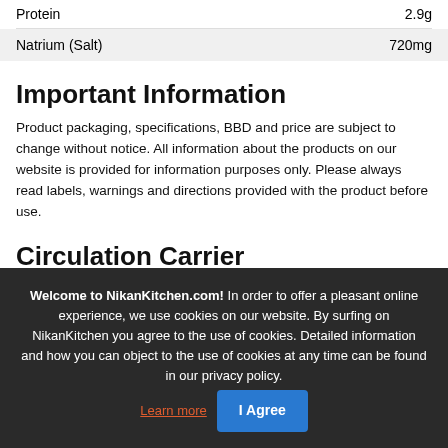| Nutrient | Amount |
| --- | --- |
| Protein | 2.9g |
| Natrium (Salt) | 720mg |
Important Information
Product packaging, specifications, BBD and price are subject to change without notice. All information about the products on our website is provided for information purposes only. Please always read labels, warnings and directions provided with the product before use.
Circulation Carrier
Interburgo Netherlands BV, Vareseweg 1, 3047 AT Rotterdam
SSP Konsumgueter Trade & Consult GmbH, Philipp-Reis-Straße 15 B3/B4, 63128
Welcome to NikanKitchen.com! In order to offer a pleasant online experience, we use cookies on our website. By surfing on NikanKitchen you agree to the use of cookies. Detailed information and how you can object to the use of cookies at any time can be found in our privacy policy. Learn more | I Agree